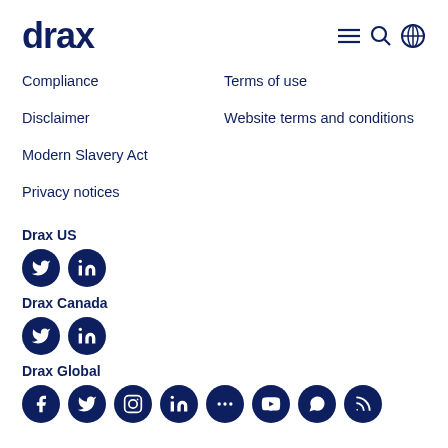drax
Compliance
Terms of use
Disclaimer
Website terms and conditions
Modern Slavery Act
Privacy notices
Drax US
[Figure (other): Twitter and LinkedIn social media icons for Drax US]
Drax Canada
[Figure (other): Twitter and LinkedIn social media icons for Drax Canada]
Drax Global
[Figure (other): Multiple social media icons for Drax Global including Facebook, Twitter, Instagram, LinkedIn and more]